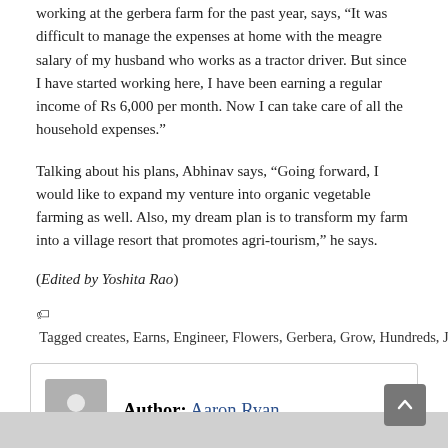working at the gerbera farm for the past year, says, “It was difficult to manage the expenses at home with the meagre salary of my husband who works as a tractor driver. But since I have started working here, I have been earning a regular income of Rs 6,000 per month. Now I can take care of all the household expenses.”
Talking about his plans, Abhinav says, “Going forward, I would like to expand my venture into organic vegetable farming as well. Also, my dream plan is to transform my farm into a village resort that promotes agri-tourism,” he says.
(Edited by Yoshita Rao)
Tagged creates, Earns, Engineer, Flowers, Gerbera, Grow, Hundreds, Job, Jobs, Lakh, Quits
Author: Aaron Ryan